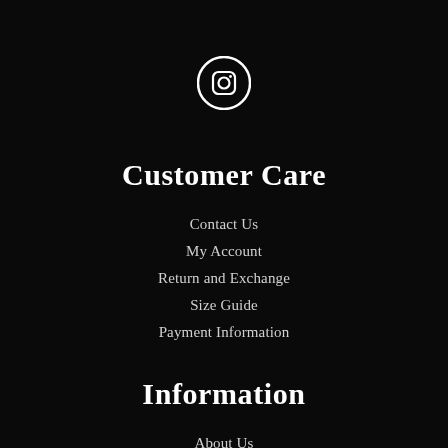[Figure (logo): Instagram logo icon — white circle outline with white camera/square icon inside, on black background]
Customer Care
Contact Us
My Account
Return and Exchange
Size Guide
Payment Information
Information
About Us
Privacy Policy
Term and Conditions
Corporate Sales